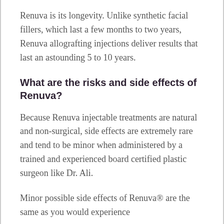Renuva is its longevity. Unlike synthetic facial fillers, which last a few months to two years, Renuva allografting injections deliver results that last an astounding 5 to 10 years.
What are the risks and side effects of Renuva?
Because Renuva injectable treatments are natural and non-surgical, side effects are extremely rare and tend to be minor when administered by a trained and experienced board certified plastic surgeon like Dr. Ali.
Minor possible side effects of Renuva® are the same as you would experience